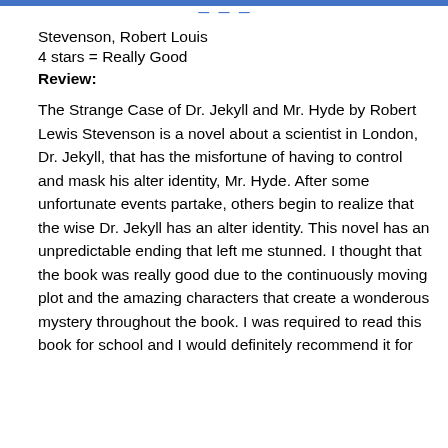…
Stevenson, Robert Louis
4 stars = Really Good
Review:
The Strange Case of Dr. Jekyll and Mr. Hyde by Robert Lewis Stevenson is a novel about a scientist in London, Dr. Jekyll, that has the misfortune of having to control and mask his alter identity, Mr. Hyde. After some unfortunate events partake, others begin to realize that the wise Dr. Jekyll has an alter identity. This novel has an unpredictable ending that left me stunned. I thought that the book was really good due to the continuously moving plot and the amazing characters that create a wonderous mystery throughout the book. I was required to read this book for school and I would definitely recommend it for